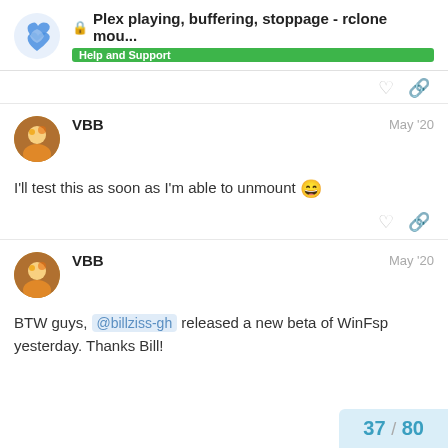🔒 Plex playing, buffering, stoppage - rclone mou... | Help and Support
I'll test this as soon as I'm able to unmount 😄
BTW guys, @billziss-gh released a new beta of WinFsp yesterday. Thanks Bill!
37 / 80